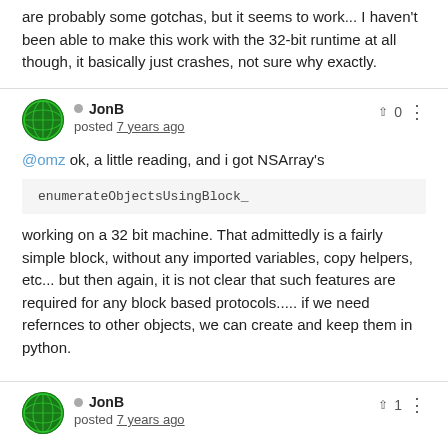are probably some gotchas, but it seems to work... I haven't been able to make this work with the 32-bit runtime at all though, it basically just crashes, not sure why exactly.
JonB posted 7 years ago
@omz ok, a little reading, and i got NSArray's
enumerateObjectsUsingBlock_
working on a 32 bit machine. That admittedly is a fairly simple block, without any imported variables, copy helpers, etc... but then again, it is not clear that such features are required for any block based protocols..... if we need refernces to other objects, we can create and keep them in python.
JonB posted 7 years ago